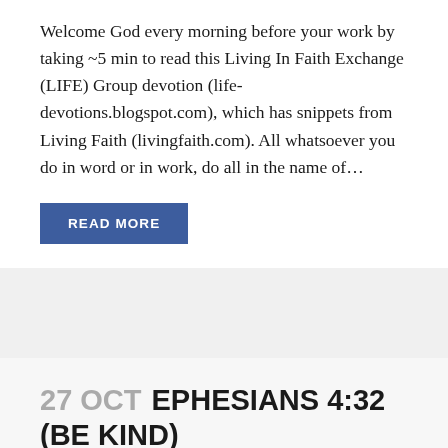Welcome God every morning before your work by taking ~5 min to read this Living In Faith Exchange (LIFE) Group devotion (life-devotions.blogspot.com), which has snippets from Living Faith (livingfaith.com). All whatsoever you do in word or in work, do all in the name of...
READ MORE
27 OCT EPHESIANS 4:32 (BE KIND)